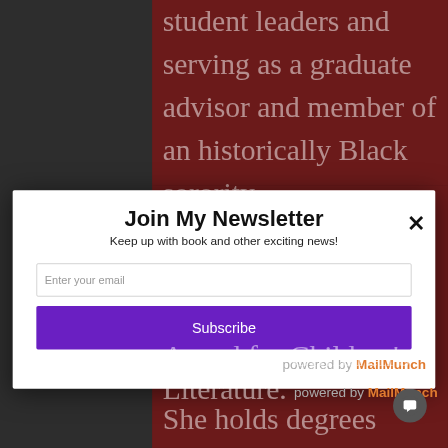[Figure (screenshot): Background webpage showing dark themed page with dark reddish-brown content panel. Top portion shows text about student leaders, bottom shows text about Award for Children's Literature, She holds degrees from the University of Oregon and the University of Maryland.]
Join My Newsletter
Keep up with book and other exciting news!
Enter your email
Subscribe
powered by MailMunch
Award for Children's Literature.
She holds degrees from the University of Oregon and the University of Maryland,